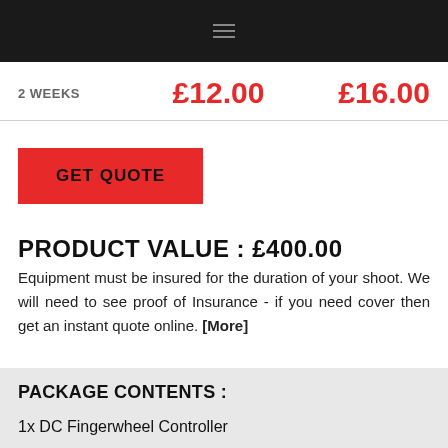2 WEEKS   £12.00   £16.00
GET QUOTE
PRODUCT VALUE : £400.00
Equipment must be insured for the duration of your shoot. We will need to see proof of Insurance - if you need cover then get an instant quote online. [More]
PACKAGE CONTENTS :
1x DC Fingerwheel Controller
2x Standard Motor (PD3-SM)
1x Motor cable 1m (6 pin)